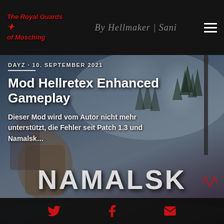The Royal Guards of Mosching | By Hellmaker | Sani
DAYZ · 10. SEPTEMBER 2021
Mod Hellretex Enhanced Gameplay
Dieser Mod wird vom Autor nicht mehr unterstützt, die Fehler seit Patch 1.3 und Namalsk…
[Figure (screenshot): DayZ game screenshot showing a snowy Namalsk map scene with a character in winter camouflage gear, trees, buildings, and the large 'NAMALSK' text overlay at the bottom]
Social icons: Twitter, Facebook, Email